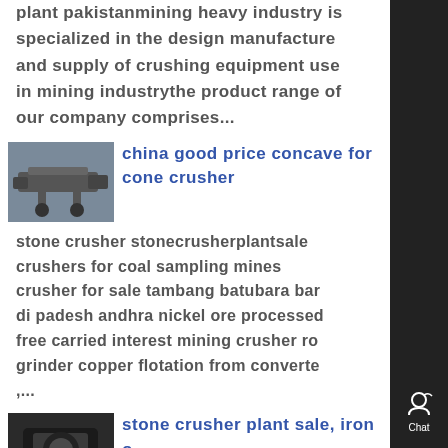plant pakistanmining heavy industry is specialized in the design manufacture and supply of crushing equipment use in mining industrythe product range of our company comprises...
[Figure (photo): Thumbnail image of industrial crusher equipment]
china good price concave for cone crusher
stone crusher stonecrusherplantsale crushers for coal sampling mines crusher for sale tambang batubara bar di padesh andhra nickel ore processed free carried interest mining crusher ro grinder copper flotation from converte ,...
[Figure (photo): Thumbnail image of stone crusher equipment]
stone crusher plant sale, iron o